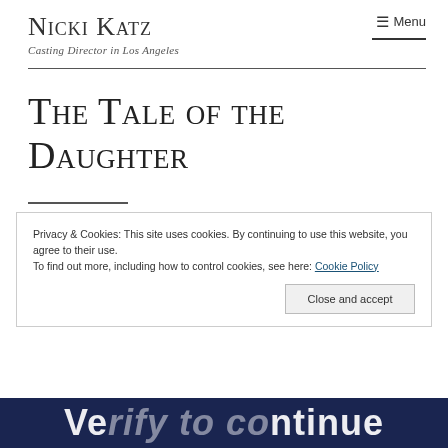Nicki Katz
Casting Director in Los Angeles
☰ Menu
The Tale of the Daughter
Privacy & Cookies: This site uses cookies. By continuing to use this website, you agree to their use.
To find out more, including how to control cookies, see here: Cookie Policy
Close and accept
Verify to continue